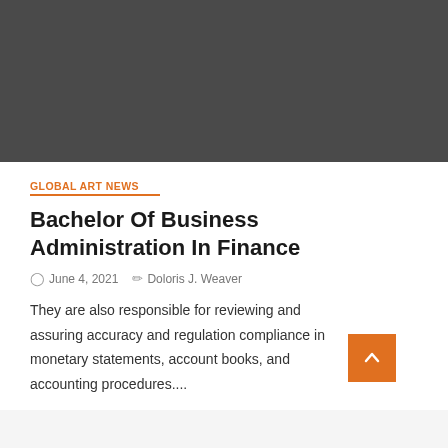[Figure (photo): Dark gray hero image banner at the top of the article page]
GLOBAL ART NEWS
Bachelor Of Business Administration In Finance
June 4, 2021   Doloris J. Weaver
They are also responsible for reviewing and assuring accuracy and regulation compliance in monetary statements, account books, and accounting procedures....